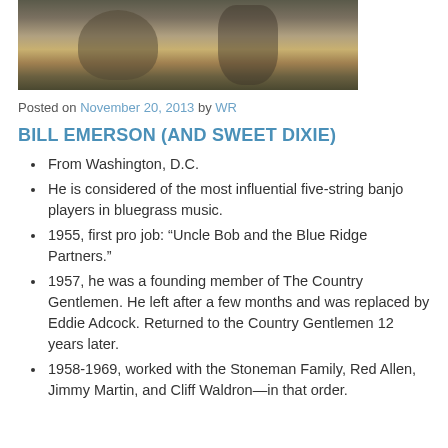[Figure (photo): Cropped photo of musicians playing banjo and upright bass outdoors]
Posted on November 20, 2013 by WR
BILL EMERSON (AND SWEET DIXIE)
From Washington, D.C.
He is considered of the most influential five-string banjo players in bluegrass music.
1955, first pro job: “Uncle Bob and the Blue Ridge Partners.”
1957, he was a founding member of The Country Gentlemen. He left after a few months and was replaced by Eddie Adcock. Returned to the Country Gentlemen 12 years later.
1958-1969, worked with the Stoneman Family, Red Allen, Jimmy Martin, and Cliff Waldron—in that order.